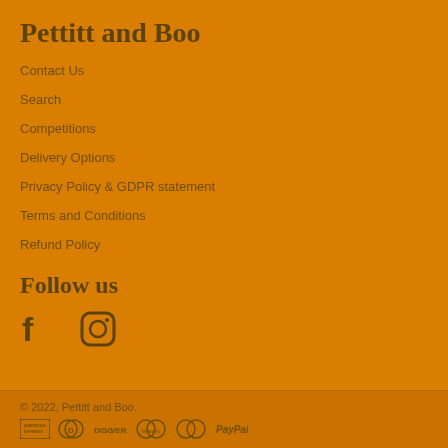Pettitt and Boo
Contact Us
Search
Competitions
Delivery Options
Privacy Policy & GDPR statement
Terms and Conditions
Refund Policy
Follow us
[Figure (infographic): Social media icons: Facebook (f) and Instagram (camera) icons in dark brown on orange background]
© 2022, Pettitt and Boo.
[Figure (infographic): Payment method logos: American Express, Diners Club, Discover, Maestro, MasterCard, PayPal]